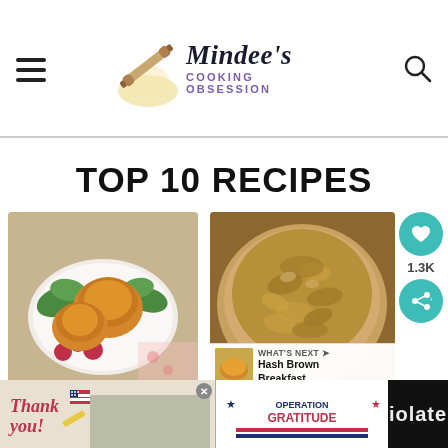Mindee's Cooking Obsession
TOP 10 RECIPES
[Figure (photo): Mini German pancakes served on a plate with raspberries and salad greens]
Mini German
[Figure (photo): Coconut Pecan dish in a glass bowl, close-up overhead view]
Coconut Pecan
[Figure (photo): WHAT'S NEXT: Hash Brown Breakfast... thumbnail]
[Figure (photo): Advertisement bar: Thank you Operation Gratitude ad banner]